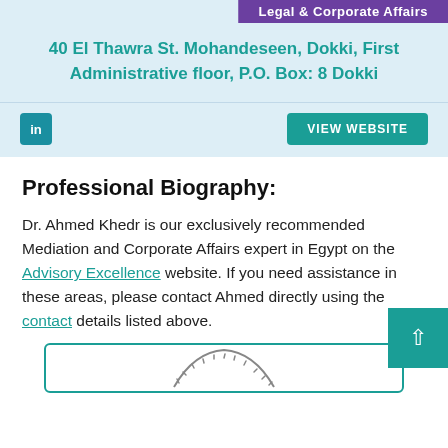[Figure (other): Purple banner with text 'Legal & Corporate Affairs']
40 El Thawra St. Mohandeseen, Dokki, First Administrative floor, P.O. Box: 8 Dokki
[Figure (logo): LinkedIn icon (teal square with 'in') and VIEW WEBSITE teal button]
Professional Biography:
Dr. Ahmed Khedr is our exclusively recommended Mediation and Corporate Affairs expert in Egypt on the Advisory Excellence website. If you need assistance in these areas, please contact Ahmed directly using the contact details listed above.
[Figure (other): Partial circular logo/seal at bottom of page inside teal-bordered card]